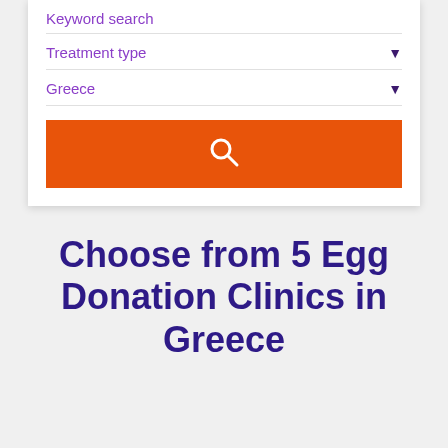Keyword search
Treatment type
Greece
[Figure (screenshot): Orange search button with white magnifying glass icon]
Choose from 5 Egg Donation Clinics in Greece